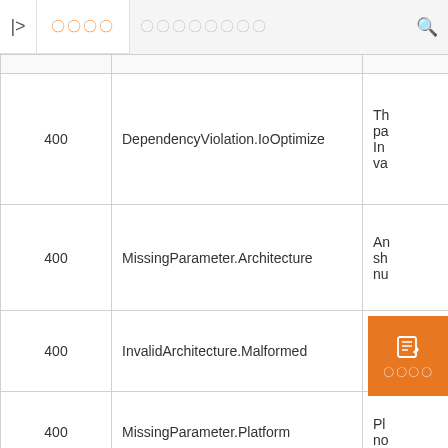ページ | 〇〇〇〇 | 〇〇〇〇〇〇〇〇 [search]
| Code | Error Name | Description |
| --- | --- | --- |
| 400 | DependencyViolation.IoOptimize | Th... pa... In... va... |
| 400 | MissingParameter.Architecture | An... sh... nu... |
| 400 | InvalidArchitecture.Malformed | Ar... no... |
| 400 | MissingParameter.Platform | Pl... no... |
| 400 | InvalidPlatform.Malformed | Pl... va... |